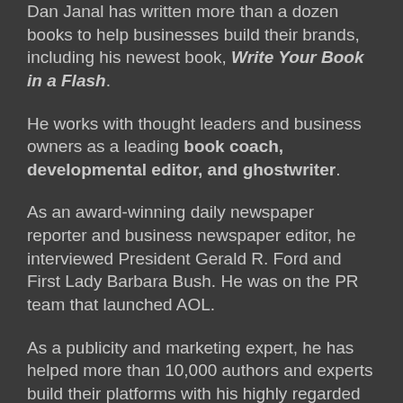Dan Janal has written more than a dozen books to help businesses build their brands, including his newest book, Write Your Book in a Flash.
He works with thought leaders and business owners as a leading book coach, developmental editor, and ghostwriter.
As an award-winning daily newspaper reporter and business newspaper editor, he interviewed President Gerald R. Ford and First Lady Barbara Bush. He was on the PR team that launched AOL.
As a publicity and marketing expert, he has helped more than 10,000 authors and experts build their platforms with his highly regarded PR LEADS and Guaranteed Press Release services.